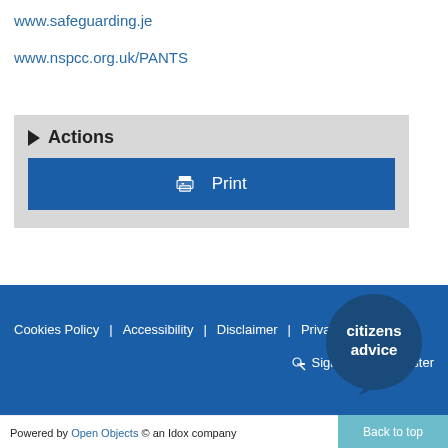www.safeguarding.je
www.nspcc.org.uk/PANTS
Actions
Print
[Figure (logo): Citizens Advice speech bubble logo with dark blue circle and white text reading 'citizens advice' with a small speech bubble tail at the bottom]
Cookies Policy   Accessibility   Disclaimer   Privacy Policy   Sign In   Register
Powered by Open Objects © an Idox company   Back to top